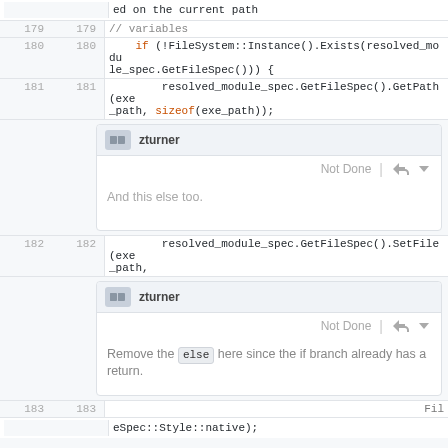ed on the current path
179  179    // variables
180  180    if (!FileSystem::Instance().Exists(resolved_module_spec.GetFileSpec())) {
181  181        resolved_module_spec.GetFileSpec().GetPath(exe_path, sizeof(exe_path));
zturner - Not Done - review comment
And this else too.
182  182        resolved_module_spec.GetFileSpec().SetFile(exe_path,
zturner - Not Done - review comment
Remove the else here since the if branch already has a return.
183  183                                                    Fil
eSpec::Style::native);